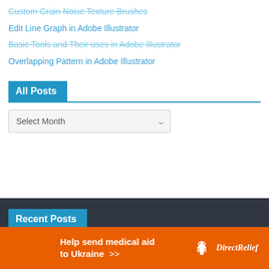Custom Grain-Noise Texture Brushes
Edit Line Graph in Adobe Illustrator
Basic Tools and Their uses in Adobe Illustrator
Overlapping Pattern in Adobe Illustrator
All Posts
Select Month
Recent Posts
[Figure (infographic): Orange advertisement banner: 'Help send medical aid to Ukraine >>' with Direct Relief logo (white bird icon and text 'DirectRelief') on the right side.]